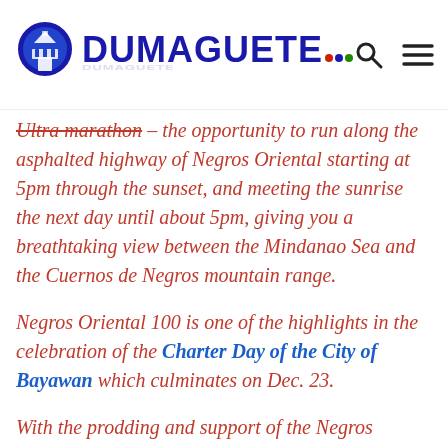DUMAGUETE
Ultra marathon – the opportunity to run along the asphalted highway of Negros Oriental starting at 5pm through the sunset, and meeting the sunrise the next day until about 5pm, giving you a breathtaking view between the Mindanao Sea and the Cuernos de Negros mountain range.
Negros Oriental 100 is one of the highlights in the celebration of the Charter Day of the City of Bayawan which culminates on Dec. 23.
With the prodding and support of the Negros Oriental-based Metro Dumaguete